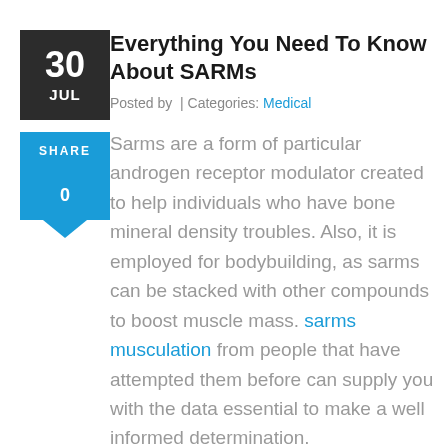Everything You Need To Know About SARMs
Posted by  | Categories: Medical
Sarms are a form of particular androgen receptor modulator created to help individuals who have bone mineral density troubles. Also, it is employed for bodybuilding, as sarms can be stacked with other compounds to boost muscle mass. sarms musculation from people that have attempted them before can supply you with the data essential to make a well informed determination.